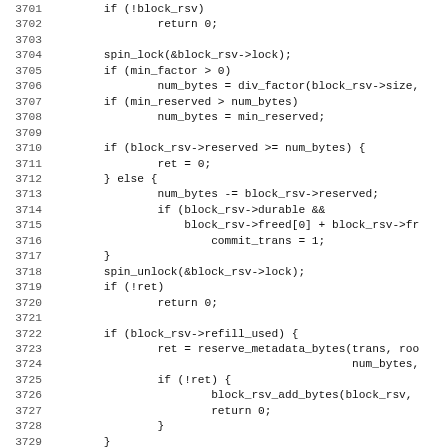[Figure (screenshot): Source code listing showing C code lines 3701-3732, with line numbers on the left and code on the right in monospace font.]